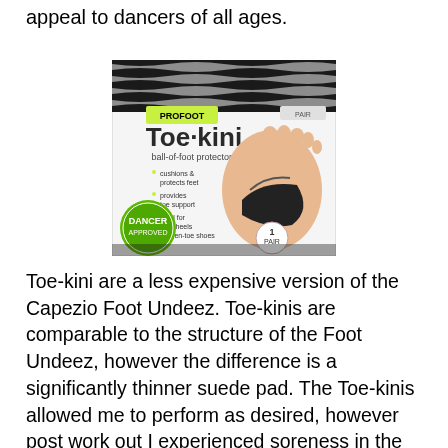appeal to dancers of all ages.
[Figure (photo): Product box of Profoot Toe-kini ball-of-foot protectors showing a foot wearing the black half-sock product with zebra stripe packaging design and green circular logo.]
Toe-kini are a less expensive version of the Capezio Foot Undeez. Toe-kinis are comparable to the structure of the Foot Undeez, however the difference is a significantly thinner suede pad. The Toe-kinis allowed me to perform as desired, however post work out I experienced soreness in the balls of my feet. The durability of the Toe-kini is inferior to the Dance Paws and Capezio Foot Undeez, however I highly recommend the use of Toe-kini if you are considering whether or not you'd be able to tolerate dancing with the half socks on your feet. Toe-kinis are inexpensive and was easily